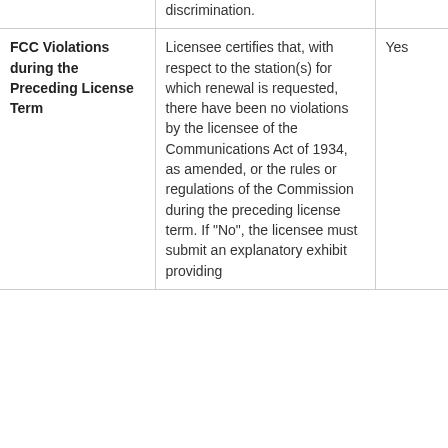|  |  |  |
| --- | --- | --- |
|  | discrimination. |  |
| FCC Violations during the Preceding License Term | Licensee certifies that, with respect to the station(s) for which renewal is requested, there have been no violations by the licensee of the Communications Act of 1934, as amended, or the rules or regulations of the Commission during the preceding license term. If "No", the licensee must submit an explanatory exhibit providing | Yes |